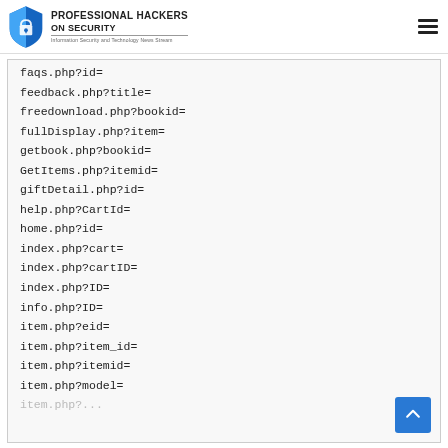Professional Hackers On Security — Information Security and Technology News Stream
faqs.php?id=
feedback.php?title=
freedownload.php?bookid=
fullDisplay.php?item=
getbook.php?bookid=
GetItems.php?itemid=
giftDetail.php?id=
help.php?CartId=
home.php?id=
index.php?cart=
index.php?cartID=
index.php?ID=
info.php?ID=
item.php?eid=
item.php?item_id=
item.php?itemid=
item.php?model=
item.php?...